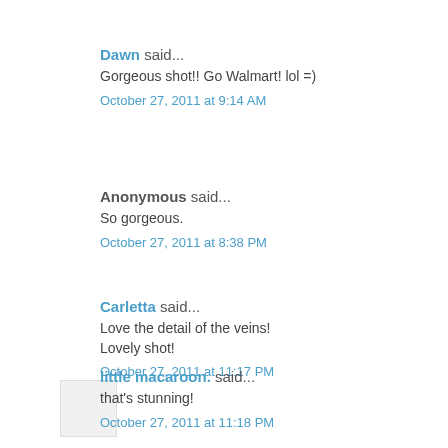Dawn said...
Gorgeous shot!! Go Walmart! lol =)
October 27, 2011 at 9:14 AM
Anonymous said...
So gorgeous.
October 27, 2011 at 8:38 PM
Carletta said...
Love the detail of the veins! Lovely shot!
October 27, 2011 at 11:17 PM
little macaroon. said...
that's stunning!
October 27, 2011 at 11:18 PM